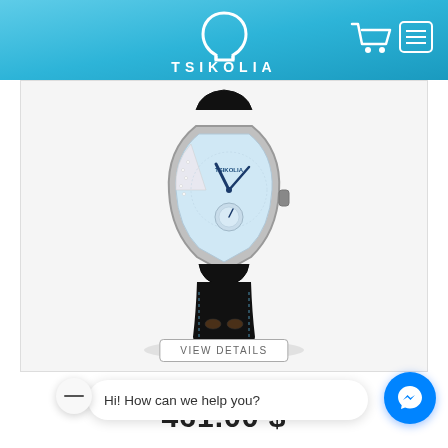[Figure (logo): TSIKOLIA brand logo with stylized horseshoe/omega symbol above the text TSIKOLIA in white on gradient blue header, with shopping cart and hamburger menu icons on the right]
[Figure (photo): Tsikolia luxury watch with triangular/shield shaped case, blue dial, diamond accents, blue hands, small seconds subdial, black leather racing strap with holes]
TW7-32G-1BU-LBK
461.00 $
Hi! How can we help you?
VIEW DETAILS